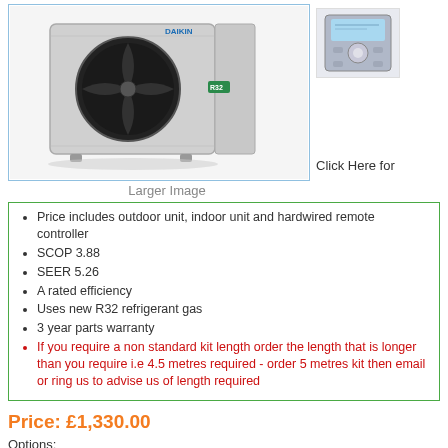[Figure (photo): Daikin outdoor air conditioning unit with large circular fan, grey/silver casing, and Daikin branding. Also shows a hardwired remote controller unit top right.]
Larger Image
Click Here for
Price includes outdoor unit, indoor unit and hardwired remote controller
SCOP 3.88
SEER 5.26
A rated efficiency
Uses new R32 refrigerant gas
3 year parts warranty
If you require a non standard kit length order the length that is longer than you require i.e 4.5 metres required - order 5 metres kit then email or ring us to advise us of length required
Price: £1,330.00
Options:
Without Special Install Kit
Inc Special Install Kit 2.5m (+ £120.00)